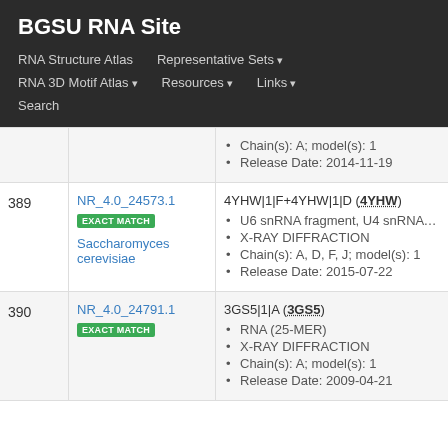BGSU RNA Site
RNA Structure Atlas
Representative Sets
RNA 3D Motif Atlas
Resources
Links
Search
| # | ID | Info |
| --- | --- | --- |
|  |  | Chain(s): A; model(s): 1
Release Date: 2014-11-19 |
| 389 | NR_4.0_24573.1
EXACT MATCH
Saccharomyces cerevisiae | 4YHW|1|F+4YHW|1|D (4YHW)
U6 snRNA fragment, U4 snRNA fragment
X-RAY DIFFRACTION
Chain(s): A, D, F, J; model(s): 1
Release Date: 2015-07-22 |
| 390 | NR_4.0_24791.1
EXACT MATCH | 3GS5|1|A (3GS5)
RNA (25-MER)
X-RAY DIFFRACTION
Chain(s): A; model(s): 1
Release Date: 2009-04-21 |